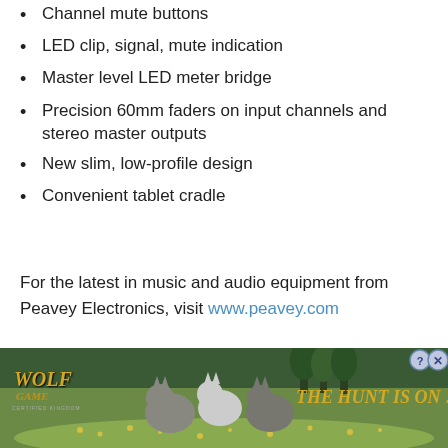Channel mute buttons
LED clip, signal, mute indication
Master level LED meter bridge
Precision 60mm faders on input channels and stereo master outputs
New slim, low-profile design
Convenient tablet cradle
For the latest in music and audio equipment from Peavey Electronics, visit www.peavey.com
[Figure (photo): Circular profile photo of Matt Parker, a man with a beard]
Matt Parker
[Figure (photo): Wolf Game advertisement banner showing wolves in a field with text THE HUNT IS ON!]